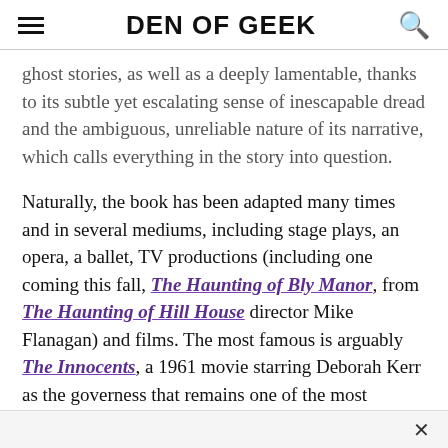DEN OF GEEK
ghost stories, as well as a deeply lamentable, thanks to its subtle yet escalating sense of inescapable dread and the ambiguous, unreliable nature of its narrative, which calls everything in the story into question.
Naturally, the book has been adapted many times and in several mediums, including stage plays, an opera, a ballet, TV productions (including one coming this fall, The Haunting of Bly Manor, from The Haunting of Hill House director Mike Flanagan) and films. The most famous is arguably The Innocents, a 1961 movie starring Deborah Kerr as the governess that remains one of the most chilling horror films ever made. And now comes The Turning, a new take on the material directed by Floria Sigismondi (The Runaways) and starring Mackenzie Davis